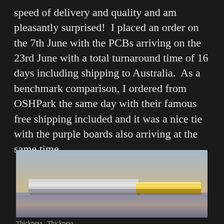speed of delivery and quality and am pleasantly surprised!  I placed an order on the 7th June with the PCBs arriving on the 23rd June with a total turnaround time of 16 days including shipping to Australia.  As a benchmark comparison, I ordered from OSHPark the same day with their famous free shipping included and it was a nice tie with the purple boards also arriving at the same time.
[Figure (photo): Close-up photograph of two PCBs (printed circuit boards) side by side on a surface — one grey/silver on the left and one yellow/gold on the right, showing their edge profiles.]
Thickness  Thickness